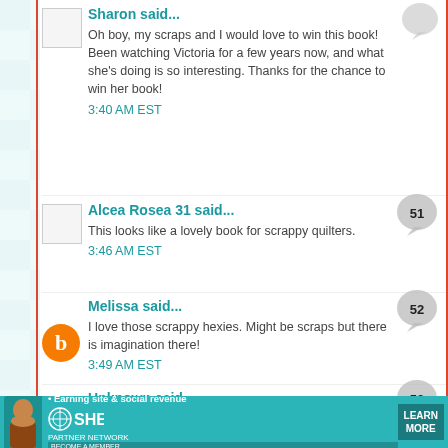Sharon said...
Oh boy, my scraps and I would love to win this book! Been watching Victoria for a few years now, and what she's doing is so interesting. Thanks for the chance to win her book!
3:40 AM EST
Alcea Rosea 31 said...
This looks like a lovely book for scrappy quilters.
3:46 AM EST
Melissa said...
I love those scrappy hexies. Might be scraps but there is imagination there!
3:49 AM EST
Unknown said...
[Figure (infographic): SHE Media partner network advertisement banner at bottom of page]